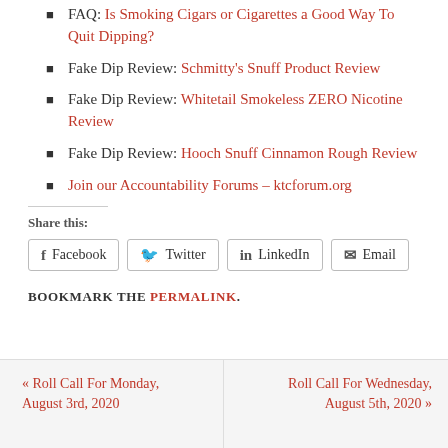FAQ: Is Smoking Cigars or Cigarettes a Good Way To Quit Dipping?
Fake Dip Review: Schmitty's Snuff Product Review
Fake Dip Review: Whitetail Smokeless ZERO Nicotine Review
Fake Dip Review: Hooch Snuff Cinnamon Rough Review
Join our Accountability Forums – ktcforum.org
Share this:
Facebook  Twitter  LinkedIn  Email
BOOKMARK THE PERMALINK.
« Roll Call For Monday, August 3rd, 2020
Roll Call For Wednesday, August 5th, 2020 »